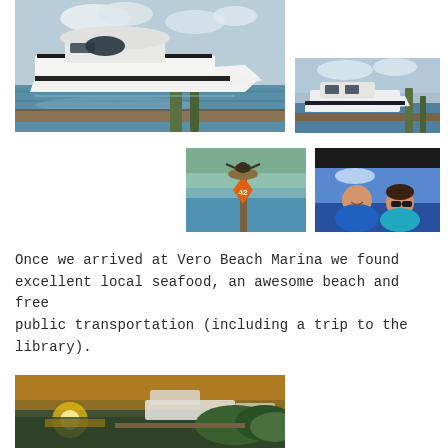[Figure (photo): Large white motor yacht cruising on water near dock pilings]
[Figure (photo): Smaller white boat at marina dock]
[Figure (photo): Bird (osprey) nesting on a channel marker post on the water, orange diamond marker with number 42]
[Figure (photo): Selfie of a smiling man and woman on the boat, blue sky background]
Once we arrived at Vero Beach Marina we found excellent local seafood, an awesome beach and free public transportation (including a trip to the library).
[Figure (photo): Sunset or evening view of boats docked at marina with lush green vegetation]